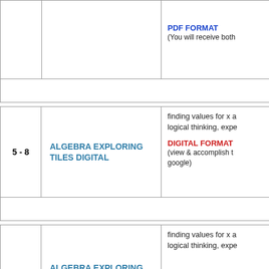| Grade | Product | Description/Format |
| --- | --- | --- |
|  |  | PDF FORMAT
(You will receive both |
|  |  |  |
| 5 - 8 | ALGEBRA EXPLORING TILES DIGITAL | finding values for x a...
logical thinking, expe...
DIGITAL FORMAT
(view & accomplish t... google) |
|  |  |  |
| 5 - 8 | ALGEBRA EXPLORING TILES | finding values for x a...
logical thinking, expe...
PDF FORMAT |